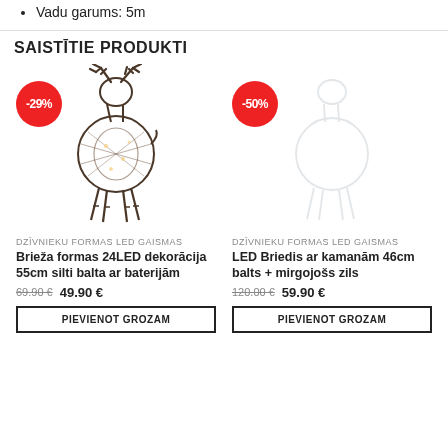Vadu garums: 5m
SAISTĪTIE PRODUKTI
[Figure (photo): Wire-frame reindeer LED decoration figure with antlers, shown without lights, brown/dark colored]
DZĪVNIEKU FORMAS LED GAISMAS
Brieža formas 24LED dekorācija 55cm silti balta ar baterijām
69.90 €  49.90 €
PIEVIENOT GROZAM
[Figure (photo): Second product image area - LED Briedis ar kamanām, blue mirrored reindeer with sled]
DZĪVNIEKU FORMAS LED GAISMAS
LED Briedis ar kamanām 46cm balts + mirgojošs zils
120.00 €  59.90 €
PIEVIENOT GROZAM